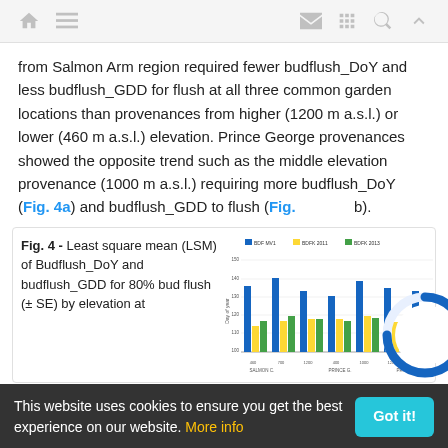Navigation bar with home, menu, mail, grid, search, and up-arrow icons
from Salmon Arm region required fewer budflush_DoY and less budflush_GDD for flush at all three common garden locations than provenances from higher (1200 m a.s.l.) or lower (460 m a.s.l.) elevation. Prince George provenances showed the opposite trend such as the middle elevation provenance (1000 m a.s.l.) requiring more budflush_DoY (Fig. 4a) and budflush_GDD to flush (Fig. 4b).
Fig. 4 - Least square mean (LSM) of Budflush_DoY and budflush_GDD for 80% bud flush (± SE) by elevation at
[Figure (grouped-bar-chart): Grouped bar chart showing Day of Year values for different elevations across regions (Salmon Arm, Prince George, Prince Rupert) with blue, yellow, and green bars.]
This website uses cookies to ensure you get the best experience on our website. More info